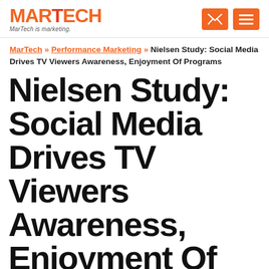MARTECH — MarTech is marketing.
MarTech » Performance Marketing » Nielsen Study: Social Media Drives TV Viewers Awareness, Enjoyment Of Programs
Nielsen Study: Social Media Drives TV Viewers Awareness, Enjoyment Of Programs
The jury is still out on how strong an effect social media has on television